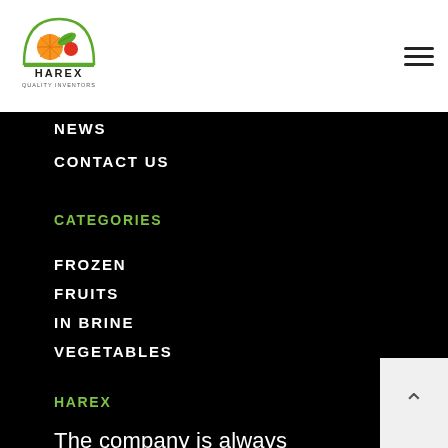[Figure (logo): Harex Quality Inventors logo — circular arch with fruits/vegetables, orange and green colors, text HAREX QUALITY INVENTORS below]
HAREX Quality Inventors — navigation header with hamburger menu
NEWS
CONTACT US
CATEGORIES
FROZEN
FRUITS
IN BRINE
VEGETABLES
HAREX
The company is always Observing market demands and trends,